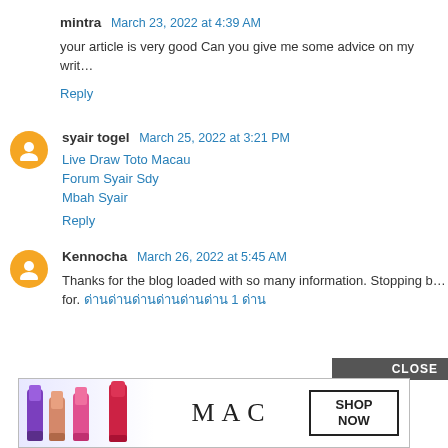mintra  March 23, 2022 at 4:39 AM
your article is very good Can you give me some advice on my writ…
Reply
syair togel  March 25, 2022 at 3:21 PM
Live Draw Toto Macau
Forum Syair Sdy
Mbah Syair
Reply
Kennocha  March 26, 2022 at 5:45 AM
Thanks for the blog loaded with so many information. Stopping b… for. ด่านด่านด่านด่านด่านด่าน 1 ด่าน
[Figure (other): MAC cosmetics advertisement banner showing lipsticks and 'SHOP NOW' button]